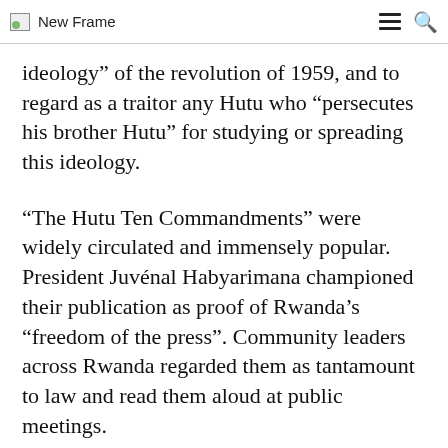New Frame
ideology” of the revolution of 1959, and to regard as a traitor any Hutu who “persecutes his brother Hutu” for studying or spreading this ideology.
“The Hutu Ten Commandments” were widely circulated and immensely popular. President Juvénal Habyarimana championed their publication as proof of Rwanda’s “freedom of the press”. Community leaders across Rwanda regarded them as tantamount to law and read them aloud at public meetings.